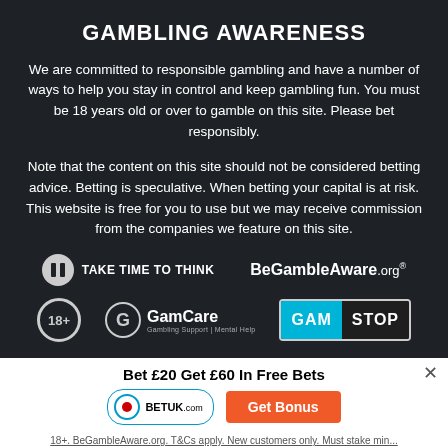GAMBLING AWARENESS
We are committed to responsible gambling and have a number of ways to help you stay in control and keep gambling fun. You must be 18 years old or over to gamble on this site. Please bet responsibly.
Note that the content on this site should not be considered betting advice. Betting is speculative. When betting your capital is at risk. This website is free for you to use but we may receive commission from the companies we feature on this site.
[Figure (logo): Row of responsible gambling logos: Take Time To Think, BeGambleAware.org, 18+ circle, GamCare, GAMSTOP]
Bet £20 Get £60 In Free Bets
[Figure (logo): BetUK logo and Get Bonus button]
18+. BeGambleAware.org. T&Cs apply. New customers only. Must stake min...